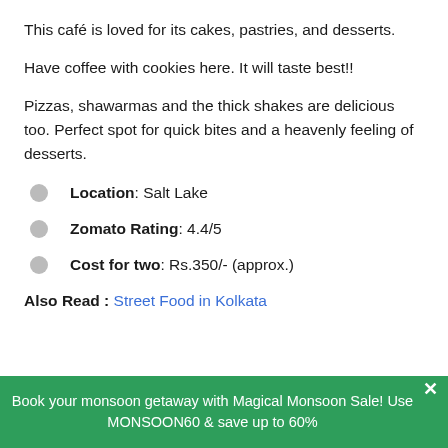This café is loved for its cakes, pastries, and desserts.
Have coffee with cookies here. It will taste best!!
Pizzas, shawarmas and the thick shakes are delicious too. Perfect spot for quick bites and a heavenly feeling of desserts.
Location: Salt Lake
Zomato Rating: 4.4/5
Cost for two: Rs.350/- (approx.)
Also Read : Street Food in Kolkata
Book your monsoon getaway with Magical Monsoon Sale! Use MONSOON60 & save up to 60%